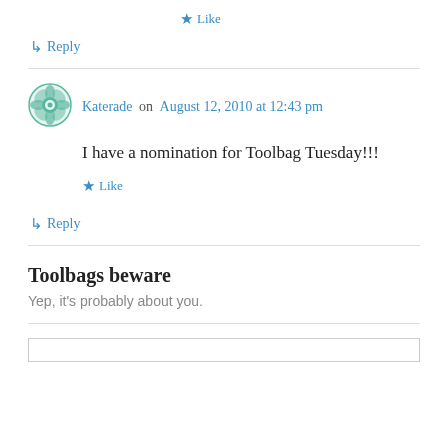★ Like
↳ Reply
Katerade on August 12, 2010 at 12:43 pm
I have a nomination for Toolbag Tuesday!!!
★ Like
↳ Reply
Toolbags beware
Yep, it's probably about you.